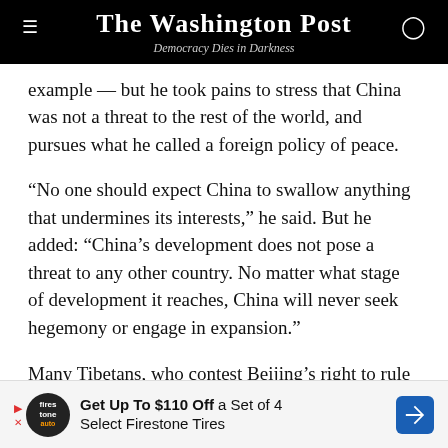The Washington Post
Democracy Dies in Darkness
example — but he took pains to stress that China was not a threat to the rest of the world, and pursues what he called a foreign policy of peace.
“No one should expect China to swallow anything that undermines its interests,” he said. But he added: “China’s development does not pose a threat to any other country. No matter what stage of development it reaches, China will never seek hegemony or engage in expansion.”
Many Tibetans, who contest Beijing’s right to rule the
[Figure (other): Advertisement banner: Get Up To $110 Off a Set of 4 Select Firestone Tires, with Firestone auto logo and blue arrow icon]